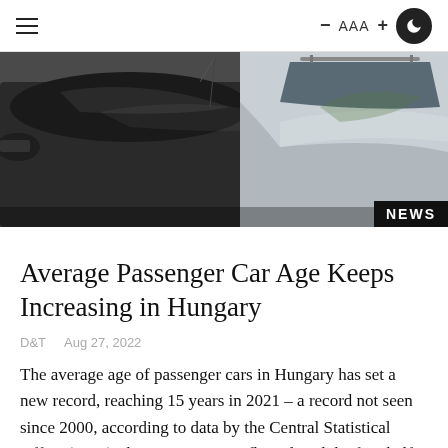≡   − AAA +  🌙
[Figure (photo): Photo of passenger cars parked close together, dark and silver vehicles visible from above, with a NEWS badge in the bottom right corner.]
Average Passenger Car Age Keeps Increasing in Hungary
D&T   Aug 27, 2022
The average age of passenger cars in Hungary has set a new record, reaching 15 years in 2021 – a record not seen since 2000, according to data by the Central Statistical Office (KSH): the Hungarian car fleet closed the first half of this year at 15.2 years of